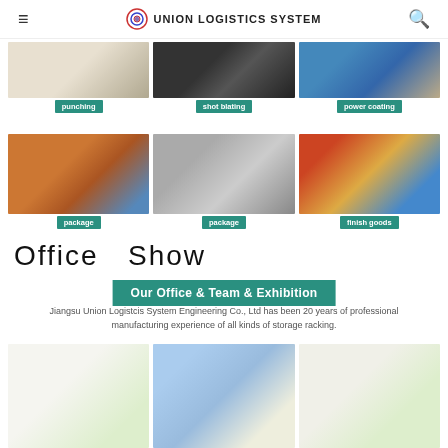UNION LOGISTICS SYSTEM
[Figure (photo): Three manufacturing process photos: punching, shot blating, power coating]
punching | shot blating | power coating
[Figure (photo): Three product/storage photos: package (wrapped pallet), package (boxed goods in warehouse), finish goods (storage racking)]
package | package | finish goods
Office  Show
Our Office & Team & Exhibition
Jiangsu Union Logistcis System Engineering Co., Ltd has been 20 years of professional manufacturing experience of all kinds of storage racking.
[Figure (photo): Three photos showing office interior, team outdoor photo, and lobby/reception area]